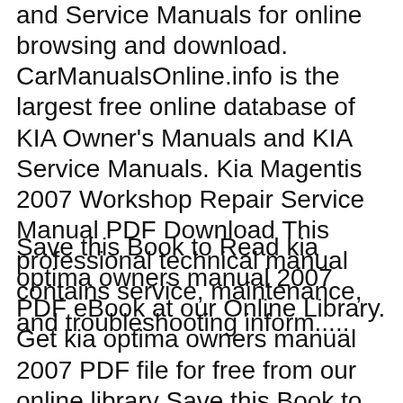and Service Manuals for online browsing and download. CarManualsOnline.info is the largest free online database of KIA Owner's Manuals and KIA Service Manuals. Kia Magentis 2007 Workshop Repair Service Manual PDF Download This professional technical manual contains service, maintenance, and troubleshooting inform.....
Save this Book to Read kia optima owners manual 2007 PDF eBook at our Online Library. Get kia optima owners manual 2007 PDF file for free from our online library Save this Book to Read kia optima owners manual 2007 PDF eBook at our Online Library. Get kia optima owners manual 2007 PDF file for free from our online library...